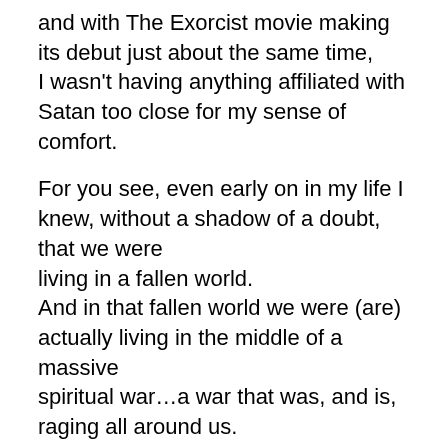and with The Exorcist movie making its debut just about the same time, I wasn't having anything affiliated with Satan too close for my sense of comfort.
For you see, even early on in my life I knew, without a shadow of a doubt, that we were living in a fallen world. And in that fallen world we were (are) actually living in the middle of a massive spiritual war…a war that was, and is, raging all around us.
Satan is very much real and will very much do what he can to thwart his mortal Enemy who just so happens to be the Creator of both dark and light and of life and even of death… And yet death with this Creator of ours is not a permanent